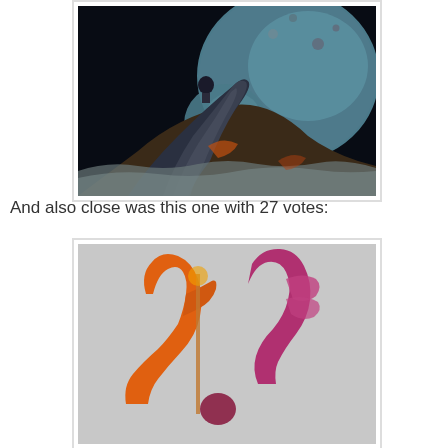[Figure (photo): A painted miniature diorama featuring a figure standing on a rocky outcrop with a space scene background showing planets and asteroids]
And also close was this one with 27 votes:
[Figure (photo): A painted miniature figure composition showing colorful sci-fi/fantasy characters including what appears to be an orange figure and pink/purple creatures]